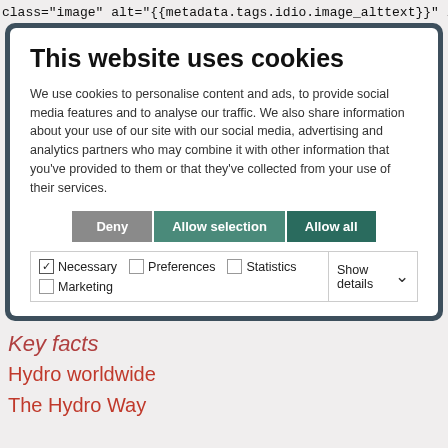class="image" alt="{{metadata.tags.idio.image_alttext}}" />
[Figure (screenshot): Cookie consent modal dialog with title 'This website uses cookies', descriptive text, three buttons (Deny, Allow selection, Allow all), and checkbox options for Necessary, Preferences, Statistics, Marketing with Show details dropdown.]
Key facts
Hydro worldwide
The Hydro Way